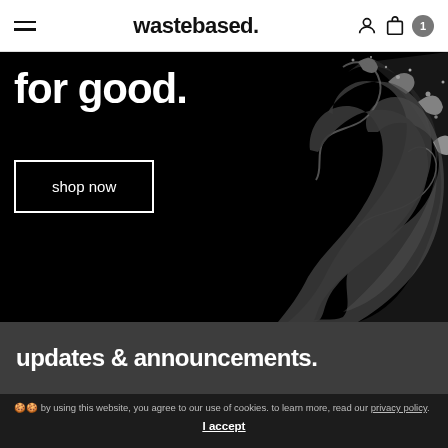wastebased.
[Figure (screenshot): Hero section with dark background, 'for good.' text in white bold font, a 'shop now' button with white border, and a water splash image on the right side]
updates & announcements.
🍪🍪 by using this website, you agree to our use of cookies. to learn more, read our privacy policy.
I accept